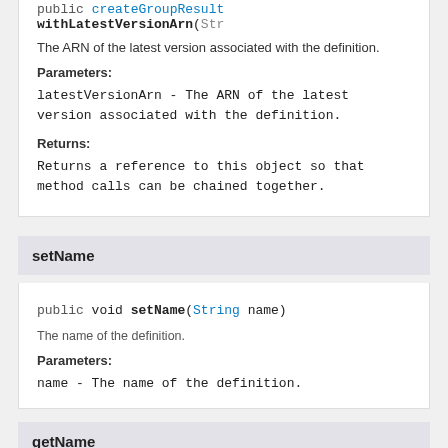public createGroupResult withLatestVersionArn(Str...
The ARN of the latest version associated with the definition.
Parameters:
latestVersionArn - The ARN of the latest version associated with the definition.
Returns:
Returns a reference to this object so that method calls can be chained together.
setName
public void setName(String name)
The name of the definition.
Parameters:
name - The name of the definition.
getName